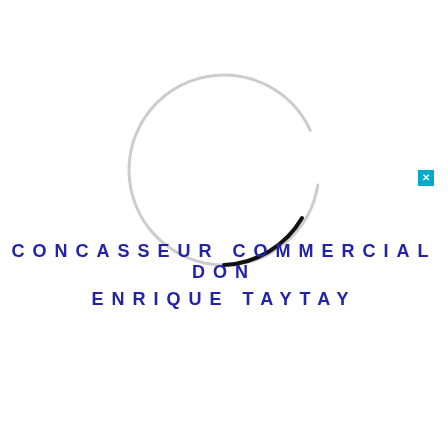[Figure (logo): A circular logo outline, mostly light gray with a small dark/black arc segment at the bottom right, forming an incomplete circle. The interior is white.]
CONCASSEUR COMMERCIAL DON ENRIQUE TAYTAY